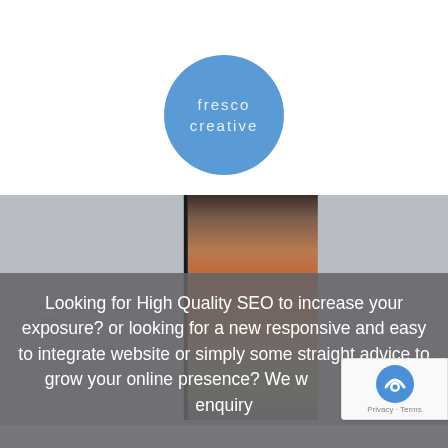[Figure (logo): Fresco Creative logo — blue circle with white text 'fresco creative' in spaced lettering]
[Figure (photo): A photograph of an art book or print lying on a table, showing colorful floral imagery, with a blurred grey background]
Looking for High Quality SEO to increase your exposure? or looking for a new responsive and easy to integrate website or simply some straight advice to grow your online presence? We we your enquiry